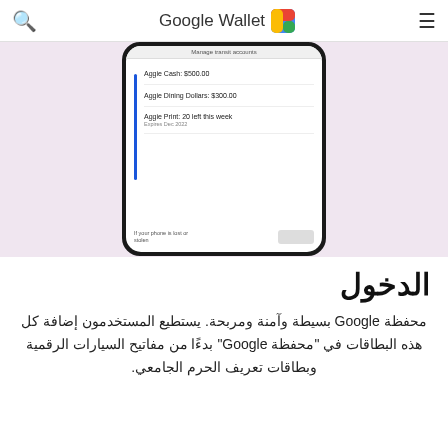Google Wallet
[Figure (screenshot): A smartphone mockup showing a Google Wallet screen with transit/campus card accounts: Aggie Cash: $500.00, Aggie Dining Dollars: $300.00, Aggie Print: 20 left this week (Expires Dec 2022), and a 'If your phone is lost or stolen' section at the bottom.]
الدخول
محفظة Google بسيطة وآمنة ومربحة. يستطيع المستخدمون إضافة كل هذه البطاقات في "محفظة Google" بدءًا من مفاتيح السيارات الرقمية وبطاقات تعريف الحرم الجامعي.